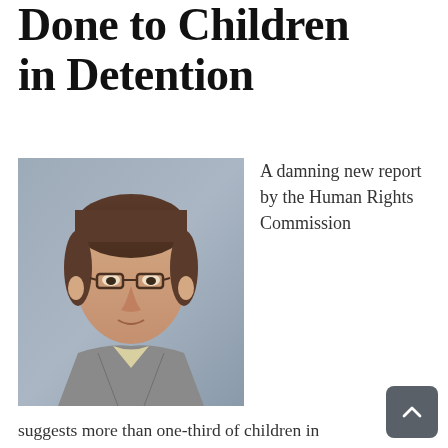Done to Children in Detention
[Figure (photo): Headshot photo of a middle-aged man with glasses, brown hair, wearing a light shirt and grey jacket, against a grey-blue background.]
A damning new report by the Human Rights Commission suggests more than one-third of children in immigration detention centres have conditions serious enough to require outpatient care.